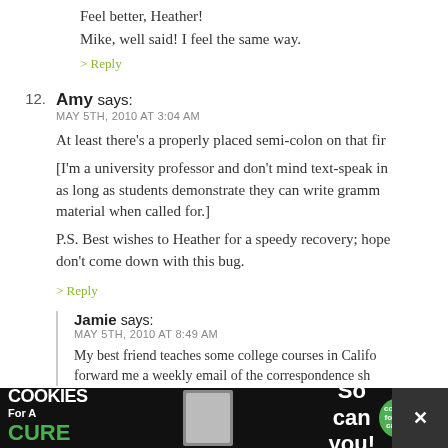Feel better, Heather!
Mike, well said! I feel the same way.
> Reply
12. Amy says: MAY 5TH, 2010 AT 3:04 AM — At least there's a properly placed semi-colon on that fi... [I'm a university professor and don't mind text-speak in... as long as students demonstrate they can write gramm... material when called for.] P.S. Best wishes to Heather for a speedy recovery; hope... don't come down with this bug.
> Reply
Jamie says: MAY 5TH, 2010 AT 8:49 AM — My best friend teaches some college courses in Cali... forward me a weekly email of the correspondence sh...
[Figure (screenshot): Advertisement banner at bottom: 'I Bake COOKIES For A CURE' with Haldora, 11 Cancer Survivor, So can you! with cookies for kids cancer logo, and close buttons]